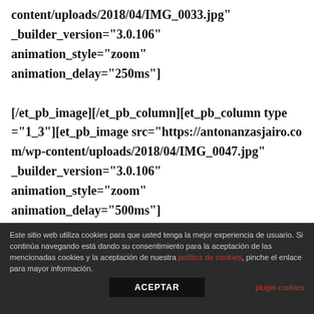content/uploads/2018/04/IMG_0033.jpg" _builder_version="3.0.106" animation_style="zoom" animation_delay="250ms"]
[/et_pb_image][/et_pb_column][et_pb_column type="1_3"][et_pb_image src="https://antonanzasjairo.com/wp-content/uploads/2018/04/IMG_0047.jpg" _builder_version="3.0.106" animation_style="zoom" animation_delay="500ms"]
Este sitio web utiliza cookies para que usted tenga la mejor experiencia de usuario. Si continúa navegando está dando su consentimiento para la aceptación de las mencionadas cookies y la aceptación de nuestra política de cookies, pinche el enlace para mayor información.
ACEPTAR
plugin cookies